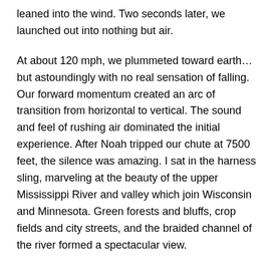leaned into the wind. Two seconds later, we launched out into nothing but air.
At about 120 mph, we plummeted toward earth… but astoundingly with no real sensation of falling. Our forward momentum created an arc of transition from horizontal to vertical. The sound and feel of rushing air dominated the initial experience. After Noah tripped our chute at 7500 feet, the silence was amazing. I sat in the harness sling, marveling at the beauty of the upper Mississippi River and valley which join Wisconsin and Minnesota. Green forests and bluffs, crop fields and city streets, and the braided channel of the river formed a spectacular view.
Much to my surprise, I experienced no nausea, even when staring straight below. Except for the occasional thrust of G-force after a turn, it was like sitting in a swing. A swing